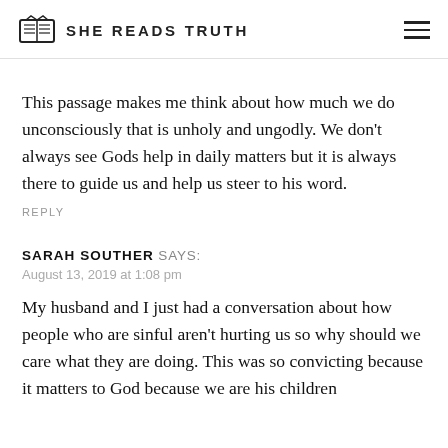SHE READS TRUTH
This passage makes me think about how much we do unconsciously that is unholy and ungodly. We don’t always see Gods help in daily matters but it is always there to guide us and help us steer to his word.
REPLY
SARAH SOUTHER SAYS:
August 13, 2019 at 1:08 pm
My husband and I just had a conversation about how people who are sinful aren’t hurting us so why should we care what they are doing. This was so convicting because it matters to God because we are his children and he always has matters for us to care about. When we think